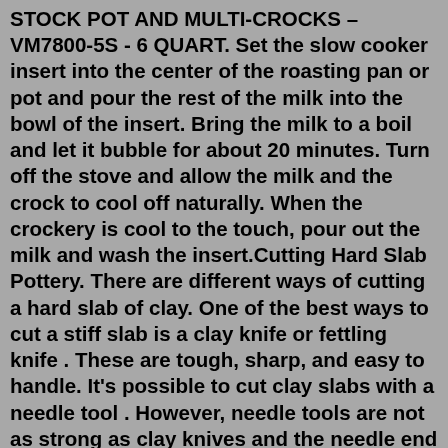STOCK POT AND MULTI-CROCKS – VM7800-5S - 6 QUART. Set the slow cooker insert into the center of the roasting pan or pot and pour the rest of the milk into the bowl of the insert. Bring the milk to a boil and let it bubble for about 20 minutes. Turn off the stove and allow the milk and the crock to cool off naturally. When the crockery is cool to the touch, pour out the milk and wash the insert.Cutting Hard Slab Pottery. There are different ways of cutting a hard slab of clay. One of the best ways to cut a stiff slab is a clay knife or fettling knife . These are tough, sharp, and easy to handle. It's possible to cut clay slabs with a needle tool . However, needle tools are not as strong as clay knives and the needle end can bend in ... What People Think about Linlithgow Pottery. I had always wanted to try pottery and came across Linlithgow pottery. It was a breeze to contact and arrange for a private taster session. Zibah has a personable personality and a passion for her craft which made it accessible for me to readily enjoy my experience as a first timer Slab Pottery...